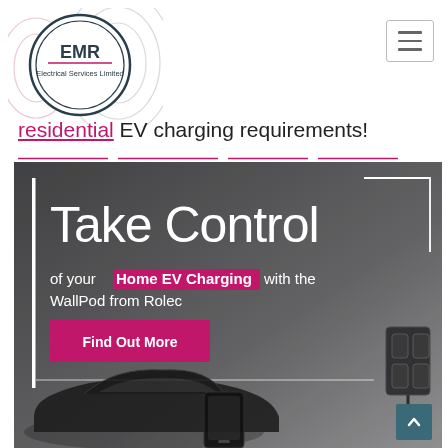[Figure (logo): EMR Electrical Services Limited logo — circular badge with concentric arc decorations in dark teal and pink]
residential EV charging requirements!
[Figure (photo): Banner image with dark grey background showing a car and phone in lower portion. White text reads 'Take Control' large, then 'of your Home EV Charging with the WallPod from Rolec'. A pink 'Find Out More' button, white accent lines, and a charging device visible at lower right.]